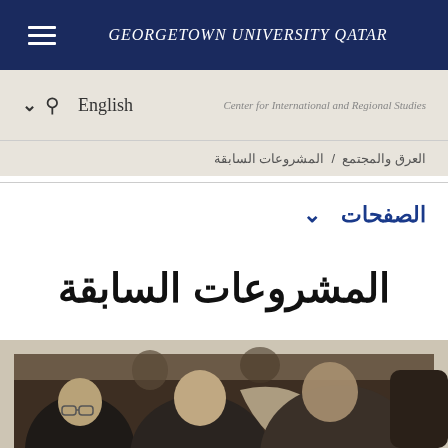GEORGETOWN UNIVERSITY QATAR
English   Center for International and Regional Studies
العرق والمجتمع / المشروعات السابقة
الصفحات ∨
المشروعات السابقة
[Figure (photo): Group of people at an event or gathering, photographed in muted tones]